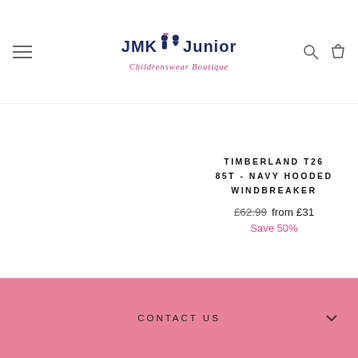JMK Junior Childrenswear Boutique
TIMBERLAND T26 85T - NAVY HOODED WINDBREAKER
£62.99 from £31 Save 50%
CONTACT US